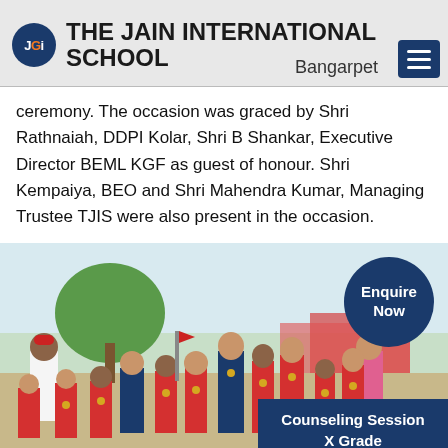THE JAIN INTERNATIONAL SCHOOL Bangarpet
ceremony. The occasion was graced by Shri Rathnaiah, DDPI Kolar, Shri B Shankar, Executive Director BEML KGF as guest of honour. Shri Kempaiya, BEO and Shri Mahendra Kumar, Managing Trustee TJIS were also present in the occasion.
[Figure (photo): Group photo of children in red uniforms with medals and adults, standing outdoors]
Enquire Now
Counseling Session X Grade